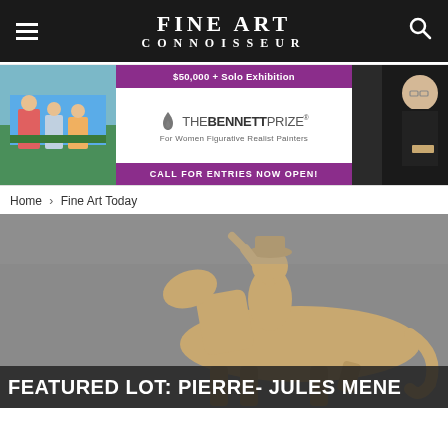FINE ART CONNOISSEUR
[Figure (screenshot): The Bennett Prize advertisement banner: left shows painting of women on bleachers, center shows purple header '$50,000 + Solo Exhibition', THE BENNETT PRIZE logo, tagline 'For Women Figurative Realist Painters', purple footer 'CALL FOR ENTRIES NOW OPEN!', right shows photo of elderly man viewing art]
Home › Fine Art Today
[Figure (photo): Hero image of a bronze sculpture of a cowboy on horseback against a grey background]
[Figure (photo): Notification popup showing article thumbnail of a red moon/planet, with title 'Cowboy Artists of America' and timestamp '4 hours ago']
FEATURED LOT: Pierre-Jules Mene